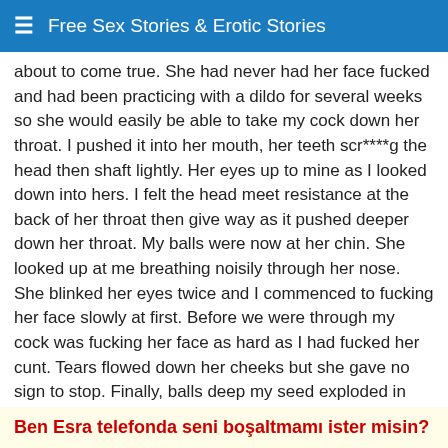Free Sex Stories & Erotic Stories
about to come true. She had never had her face fucked and had been practicing with a dildo for several weeks so she would easily be able to take my cock down her throat. I pushed it into her mouth, her teeth scr****g the head then shaft lightly. Her eyes up to mine as I looked down into hers. I felt the head meet resistance at the back of her throat then give way as it pushed deeper down her throat. My balls were now at her chin. She looked up at me breathing noisily through her nose. She blinked her eyes twice and I commenced to fucking her face slowly at first. Before we were through my cock was fucking her face as hard as I had fucked her cunt. Tears flowed down her cheeks but she gave no sign to stop. Finally, balls deep my seed exploded in ropes down her throat. There was none in her mouth...it was all past that.After we pulled apart we kissed softly for ten minutes or so then she said, “tomorrow?” I grinned and nodded yes.I washed my hands and cock to get the cunt smell off of me, put on my underwear and walked back upstairs.
Ben Esra telefonda seni bośaltmamı ister misin?